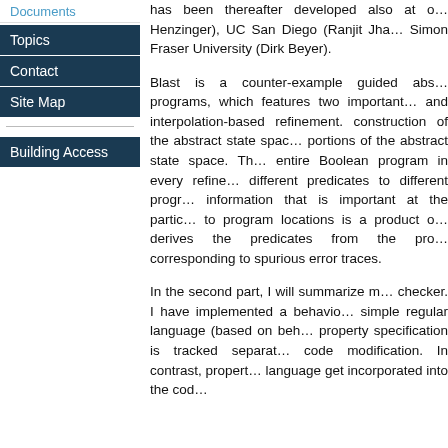Documents
Topics
Contact
Site Map
Building Access
has been thereafter developed also at other places: UC Berkeley (Thomas Henzinger), UC San Diego (Ranjit Jha...), Simon Fraser University (Dirk Beyer).
Blast is a counter-example guided abstraction refinement tool for C programs, which features two important techniques: lazy abstraction and interpolation-based refinement. Lazy abstraction avoids the construction of the abstract state space and instead explores only the portions of the abstract state space. The tool does not have to re-check entire Boolean program in every refinement step but can assign different predicates to different program locations — only tracking information that is important at the particular location. The state assigned to program locations is a product of local predicates. Blast derives the predicates from the proof of infeasibility corresponding to spurious error traces.
In the second part, I will summarize my work on a behavioral model checker. I have implemented a behavioral model checking algorithm for a simple regular language (based on behavioral specification). The property specification is tracked separately from the program without code modification. In contrast, properties expressed in the regular language get incorporated into the code...